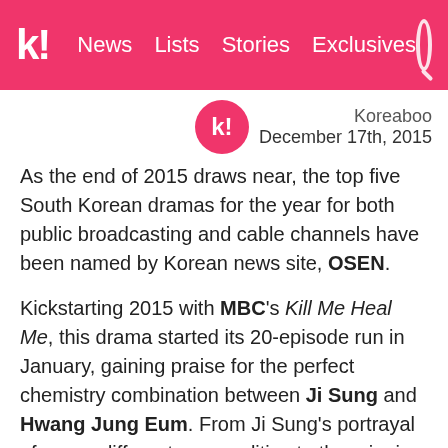k! News Lists Stories Exclusives
Koreaboo
December 17th, 2015
As the end of 2015 draws near, the top five South Korean dramas for the year for both public broadcasting and cable channels have been named by Korean news site, OSEN.
Kickstarting 2015 with MBC's Kill Me Heal Me, this drama started its 20-episode run in January, gaining praise for the perfect chemistry combination between Ji Sung and Hwang Jung Eum. From Ji Sung's portrayal of seven different personalities to the cringing bromance moments between Ji Sung and Park Seo Joon, the drama was well-loved from start to end.